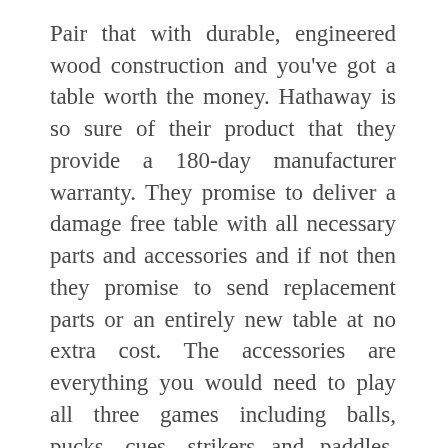Pair that with durable, engineered wood construction and you've got a table worth the money. Hathaway is so sure of their product that they provide a 180-day manufacturer warranty. They promise to deliver a damage free table with all necessary parts and accessories and if not then they promise to send replacement parts or an entirely new table at no extra cost. The accessories are everything you would need to play all three games including balls, pucks, cues, strikers and paddles. The materials used are CARB certified and environmentally safe. The table has dimensions of 48-in L x 24-in W x 31-in H with the playing surface 43.25 in